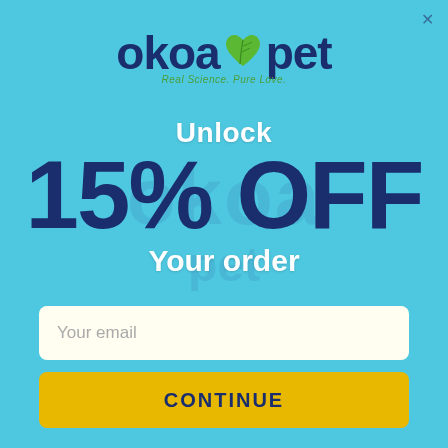[Figure (logo): Okoa Pet logo with dark blue text and green leaf heart icon, tagline 'Real Science. Pure Love.']
Unlock
15% OFF
Your order
Your email
CONTINUE